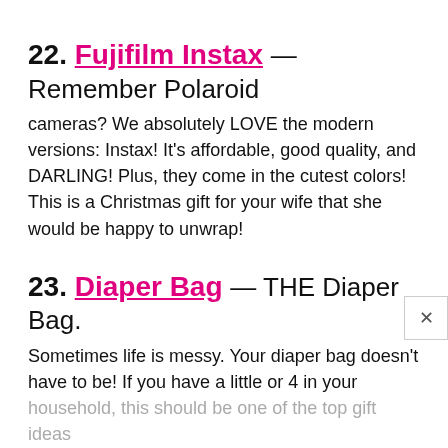22. Fujifilm Instax — Remember Polaroid cameras? We absolutely LOVE the modern versions: Instax! It's affordable, good quality, and DARLING! Plus, they come in the cutest colors! This is a Christmas gift for your wife that she would be happy to unwrap!
23. Diaper Bag — THE Diaper Bag. Sometimes life is messy. Your diaper bag doesn't have to be! If you have a little or 4 in your household, this should be one of the top gift ideas for your wife in 2024. The...